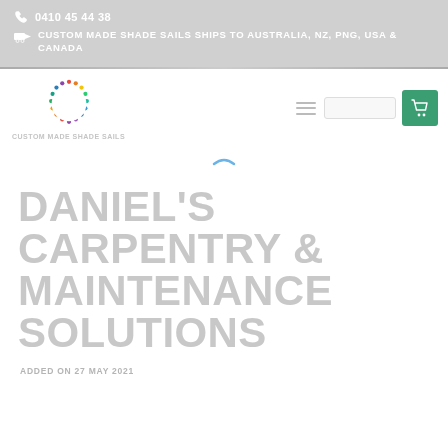0410 45 44 38  CUSTOM MADE SHADE SAILS SHIPS TO AUSTRALIA, NZ, PNG, USA & CANADA
[Figure (logo): Custom Made Shade Sails circular logo with colorful dot pattern ring]
DANIEL'S CARPENTRY & MAINTENANCE SOLUTIONS
ADDED ON 27 MAY 2021